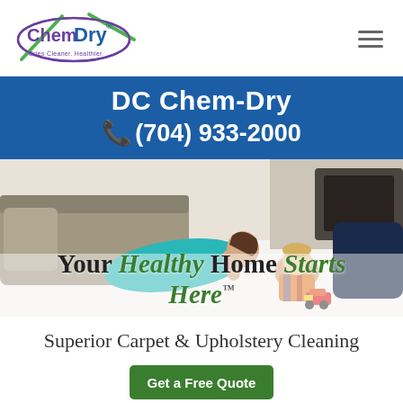[Figure (logo): Chem-Dry logo with oval purple outline, green swoosh, and tagline 'Dries Cleaner. Healthier.']
DC Chem-Dry
(704) 933-2000
[Figure (photo): Mother lying on clean white carpet smiling at toddler playing with toy car, couch and fireplace in background]
Your Healthy Home Starts Here™
Superior Carpet & Upholstery Cleaning